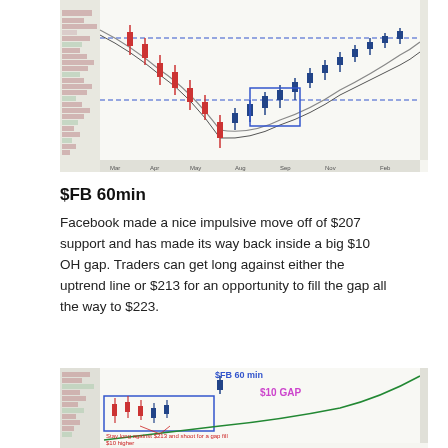[Figure (continuous-plot): Stock chart – daily candlestick chart with volume profile on left, price action with moving averages, horizontal blue dashed support lines, and a highlighted rectangle marking a consolidation area. Time axis spans Mar through Feb.]
$FB 60min
Facebook made a nice impulsive move off of $207 support and has made its way back inside a big $10 OH gap. Traders can get long against either the uptrend line or $213 for an opportunity to fill the gap all the way to $223.
[Figure (continuous-plot): $FB 60 min chart showing price action with a blue rectangle around a consolidation zone, annotation 'Stay long against $213 and shoot for a gap fill $10 higher', pink '$10 GAP' label on right side, and upward trending green line.]